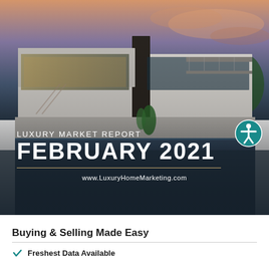[Figure (photo): Luxury modern home with pool at dusk, large glass windows, illuminated interior, dramatic sky background. Cover image for Luxury Market Report February 2021.]
LUXURY MARKET REPORT
FEBRUARY 2021
www.LuxuryHomeMarketing.com
Buying & Selling Made Easy
Freshest Data Available